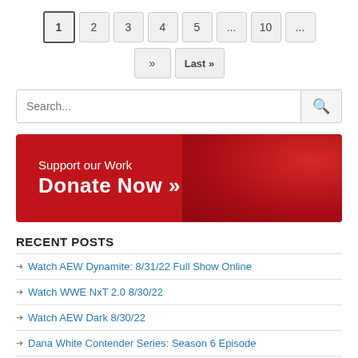Pagination: 1 2 3 4 5 ... 10 ... » Last »
Search...
[Figure (infographic): Red banner with text: Support our Work / Donate Now »]
RECENT POSTS
Watch AEW Dynamite: 8/31/22 Full Show Online
Watch WWE NxT 2.0 8/30/22
Watch AEW Dark 8/30/22
Dana White Contender Series: Season 6 Episode